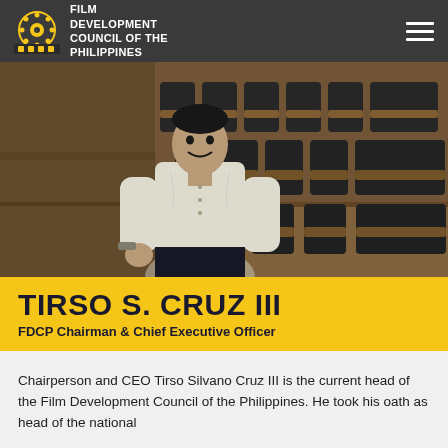FILM DEVELOPMENT COUNCIL OF THE PHILIPPINES
[Figure (photo): Man in white barong tagalog sitting in a theater with dark seats, smiling at camera]
TIRSO S. CRUZ III
FDCP Chairman & Chief Executive Officer
Chairperson and CEO Tirso Silvano Cruz III is the current head of the Film Development Council of the Philippines. He took his oath as head of the national